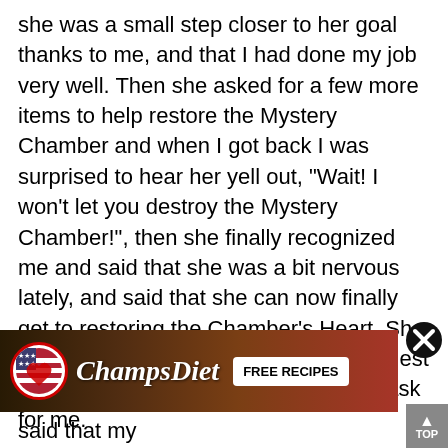she was a small step closer to her goal thanks to me, and that I had done my job very well. Then she asked for a few more items to help restore the Mystery Chamber and when I got back I was surprised to hear her yell out, "Wait! I won't let you destroy the Mystery Chamber!", then she finally recognized me and said that she was a bit nervous lately, and said that she can now finally get to restoring the Chamber's Heart. She told me that I was her most frequent guest these days and that she has another task for me.
[Figure (other): Advertisement banner for ChampsDiet website featuring a US flag logo, food background with pasta and vegetables, brand name 'ChampsDiet' in cursive white text, and a 'FREE RECIPES' button]
said that my